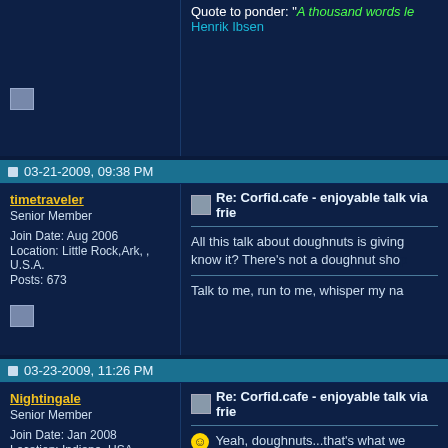Quote to ponder: "A thousand words le... Henrik Ibsen
03-21-2009, 09:38 PM
timetraveler
Senior Member
Join Date: Aug 2006
Location: Little Rock,Ark, , U.S.A.
Posts: 673
Re: Corfid.cafe - enjoyable talk via frie...
All this talk about doughnuts is giving... know it? There's not a doughnut sho...
Talk to me, run to me, whisper my na...
03-23-2009, 11:26 PM
Nightingale
Senior Member
Join Date: Jan 2008
Location: Indiana, USA
Posts: 675
Re: Corfid.cafe - enjoyable talk via frie...
Yeah, doughnuts...that's what we...
"Tiime has been wastin' away...You know It just keeps on rolling down the deep ca... And through the green meadows into the broad ocean..."
G. Lightfoot "Tattoo"